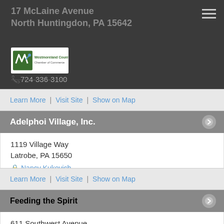17 McLaine Avenue
North Huntingdon, PA 15642
724-336-3100
Learn More | Visit Site | Show on Map
Adelphoi Village, Inc.
1119 Village Way
Latrobe, PA 15650
Nancy Kukovich
724-804-7000
Learn More | Visit Site | Show on Map
Feeding the Spirit
611 Southwest Avenue
Greensburg, PA 15601
Deb Thackrah
724-757-2533